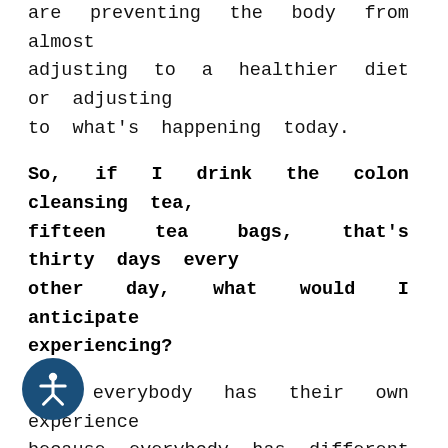are preventing the body from almost adjusting to a healthier diet or adjusting to what's happening today.
So, if I drink the colon cleansing tea, fifteen tea bags, that's thirty days every other day, what would I anticipate experiencing?
So, everybody has their own experience because everybody has different levels of toxins. I don't know what you ate yesterday and I don't know what you ate five years ago. However, it all depends